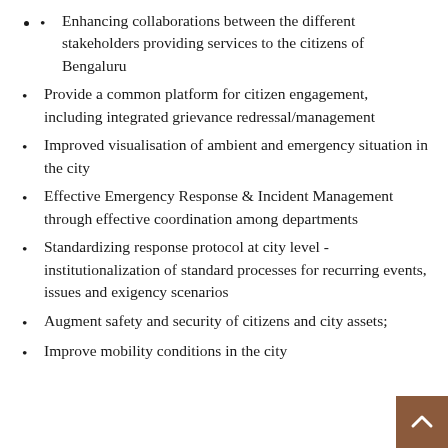Enhancing collaborations between the different stakeholders providing services to the citizens of Bengaluru
Provide a common platform for citizen engagement, including integrated grievance redressal/management
Improved visualisation of ambient and emergency situation in the city
Effective Emergency Response & Incident Management through effective coordination among departments
Standardizing response protocol at city level - institutionalization of standard processes for recurring events, issues and exigency scenarios
Augment safety and security of citizens and city assets;
Improve mobility conditions in the city